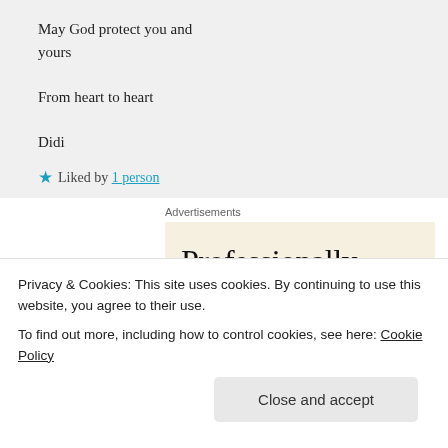May God protect you and yours
From heart to heart
Didi
★ Liked by 1 person
Log in to Reply
Advertisements
[Figure (other): Advertisement banner with text 'Professionally']
Privacy & Cookies: This site uses cookies. By continuing to use this website, you agree to their use.
To find out more, including how to control cookies, see here: Cookie Policy
Close and accept